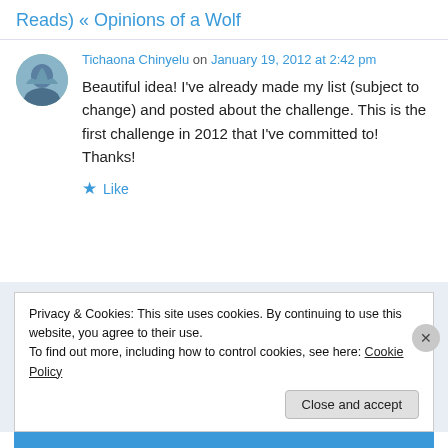Reads) « Opinions of a Wolf
Tichaona Chinyelu on January 19, 2012 at 2:42 pm
Beautiful idea! I've already made my list (subject to change) and posted about the challenge. This is the first challenge in 2012 that I've committed to! Thanks!
★ Like
Privacy & Cookies: This site uses cookies. By continuing to use this website, you agree to their use.
To find out more, including how to control cookies, see here: Cookie Policy
Close and accept